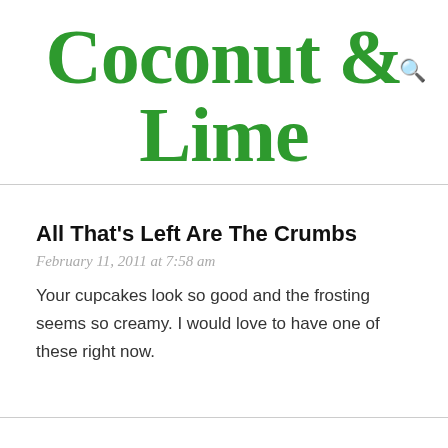Coconut & Lime
All That's Left Are The Crumbs
February 11, 2011 at 7:58 am
Your cupcakes look so good and the frosting seems so creamy. I would love to have one of these right now.